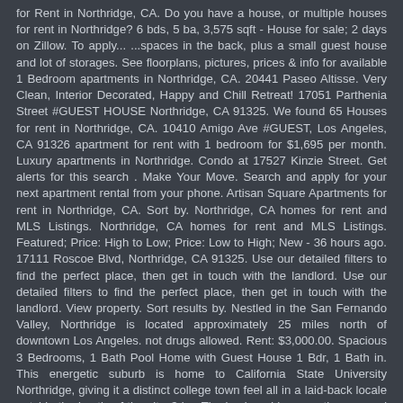for Rent in Northridge, CA. Do you have a house, or multiple houses for rent in Northridge? 6 bds, 5 ba, 3,575 sqft - House for sale; 2 days on Zillow. To apply... ...spaces in the back, plus a small guest house and lot of storages. See floorplans, pictures, prices & info for available 1 Bedroom apartments in Northridge, CA. 20441 Paseo Altisse. Very Clean, Interior Decorated, Happy and Chill Retreat! 17051 Parthenia Street #GUEST HOUSE Northridge, CA 91325. We found 65 Houses for rent in Northridge, CA. 10410 Amigo Ave #GUEST, Los Angeles, CA 91326 apartment for rent with 1 bedroom for $1,695 per month. Luxury apartments in Northridge. Condo at 17527 Kinzie Street. Get alerts for this search . Make Your Move. Search and apply for your next apartment rental from your phone. Artisan Square Apartments for rent in Northridge, CA. Sort by. Northridge, CA homes for rent and MLS Listings. Northridge, CA homes for rent and MLS Listings. Featured; Price: High to Low; Price: Low to High; New - 36 hours ago. 17111 Roscoe Blvd, Northridge, CA 91325. Use our detailed filters to find the perfect place, then get in touch with the landlord. Use our detailed filters to find the perfect place, then get in touch with the landlord. View property. Sort results by. Nestled in the San Fernando Valley, Northridge is located approximately 25 miles north of downtown Los Angeles. not drugs allowed. Rent: $3,000.00. Spacious 3 Bedrooms, 1 Bath Pool Home with Guest House 1 Bdr, 1 Bath in. This energetic suburb is home to California State University Northridge, giving it a distinct college town feel all in a laid-back locale outside the bustle of the city. 3 ba. The backyard has a patio area and artificial grass low maintenance. We have 41 properties for sale listed as guest house northridge ca, from just $519,900. With MHVillage, its easy to stay up to date with the